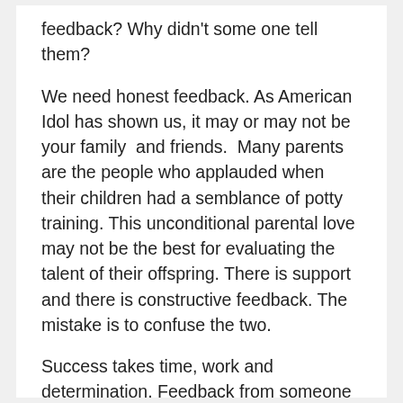feedback? Why didn't some one tell them?
We need honest feedback. As American Idol has shown us, it may or may not be your family and friends. Many parents are the people who applauded when their children had a semblance of potty training. This unconditional parental love may not be the best for evaluating the talent of their offspring. There is support and there is constructive feedback. The mistake is to confuse the two.
Success takes time, work and determination. Feedback from someone who is qualified and doesn't love me is more valuable than anything. How else will I find out what works and what